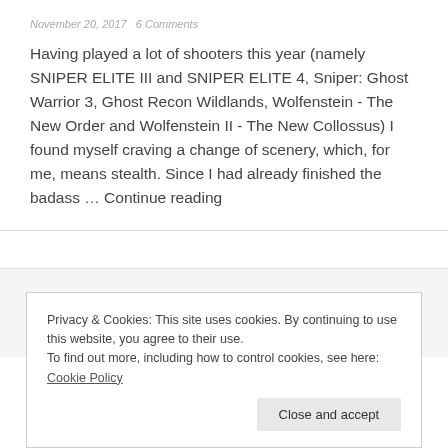November 20, 2017   6 Comments
Having played a lot of shooters this year (namely SNIPER ELITE III and SNIPER ELITE 4, Sniper: Ghost Warrior 3, Ghost Recon Wildlands, Wolfenstein - The New Order and Wolfenstein II - The New Collossus) I found myself craving a change of scenery, which, for me, means stealth. Since I had already finished the badass … Continue reading
Privacy & Cookies: This site uses cookies. By continuing to use this website, you agree to their use.
To find out more, including how to control cookies, see here: Cookie Policy
Close and accept